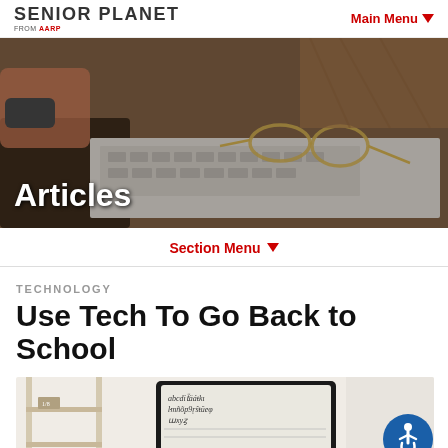SENIOR PLANET FROM AARP | Main Menu
[Figure (photo): Hero banner photo of hands near a keyboard and glasses on paper, with 'Articles' label overlaid in white text]
Articles
Section Menu
TECHNOLOGY
Use Tech To Go Back to School
[Figure (photo): Photo of a bookshelf or desk setup with a tablet/screen showing handwritten alphabet characters]